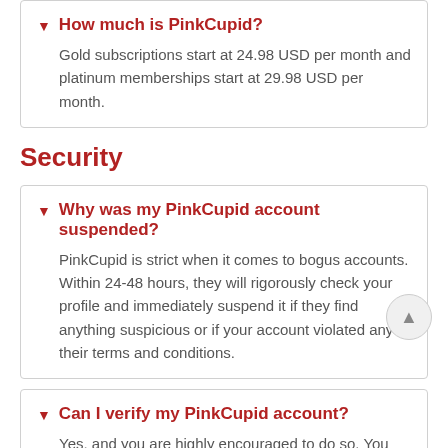How much is PinkCupid?
Gold subscriptions start at 24.98 USD per month and platinum memberships start at 29.98 USD per month.
Security
Why was my PinkCupid account suspended?
PinkCupid is strict when it comes to bogus accounts. Within 24-48 hours, they will rigorously check your profile and immediately suspend it if they find anything suspicious or if your account violated any of their terms and conditions.
Can I verify my PinkCupid account?
Yes, and you are highly encouraged to do so. You